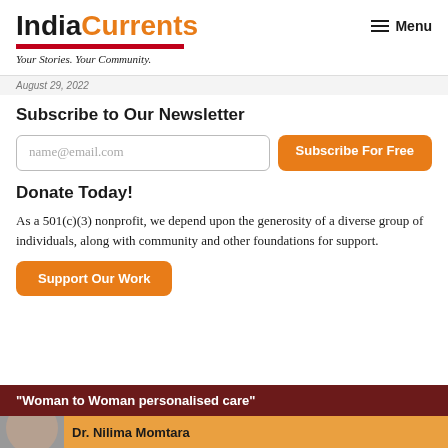IndiaCurrents — Your Stories. Your Community.
August 29, 2022
Subscribe to Our Newsletter
name@email.com
Subscribe For Free
Donate Today!
As a 501(c)(3) nonprofit, we depend upon the generosity of a diverse group of individuals, along with community and other foundations for support.
Support Our Work
[Figure (illustration): Advertisement banner with dark red background showing text: Woman to Woman personalised care, and orange strip at bottom with Dr. Nilima Monstara text and a partial photo of a person]